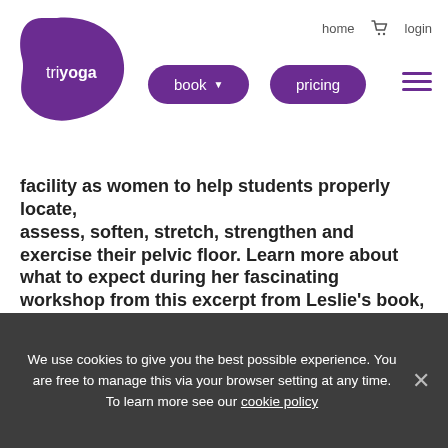triyoga | home | cart | login | book | pricing
facility as women to help students properly locate, assess, soften, stretch, strengthen and exercise their pelvic floor. Learn more about what to expect during her fascinating workshop from this excerpt from Leslie’s book, Pelvic Liberation.
What is the pelvic floor? Many people might respond with a shrug or a blank stare; the slightly more knowledgeable might point to “down there”. Let’s say I were to ask you what part of the body is the most crucial to maintaining good posture? You might
We use cookies to give you the best possible experience. You are free to manage this via your browser setting at any time. To learn more see our cookie policy